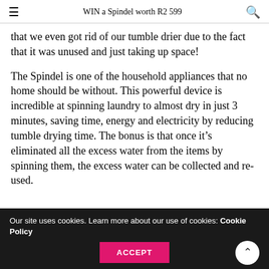WIN a Spindel worth R2 599
that we even got rid of our tumble drier due to the fact that it was unused and just taking up space!
The Spindel is one of the household appliances that no home should be without. This powerful device is incredible at spinning laundry to almost dry in just 3 minutes, saving time, energy and electricity by reducing tumble drying time. The bonus is that once it’s eliminated all the excess water from the items by spinning them, the excess water can be collected and re-used.
Our site uses cookies. Learn more about our use of cookies: Cookie Policy